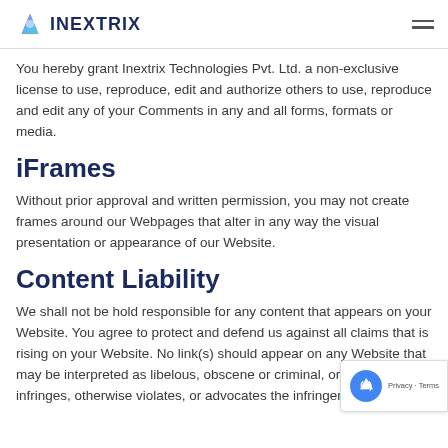INEXTRIX
You hereby grant Inextrix Technologies Pvt. Ltd. a non-exclusive license to use, reproduce, edit and authorize others to use, reproduce and edit any of your Comments in any and all forms, formats or media.
iFrames
Without prior approval and written permission, you may not create frames around our Webpages that alter in any way the visual presentation or appearance of our Website.
Content Liability
We shall not be hold responsible for any content that appears on your Website. You agree to protect and defend us against all claims that is rising on your Website. No link(s) should appear on any Website that may be interpreted as libelous, obscene or criminal, or which infringes, otherwise violates, or advocates the infringement